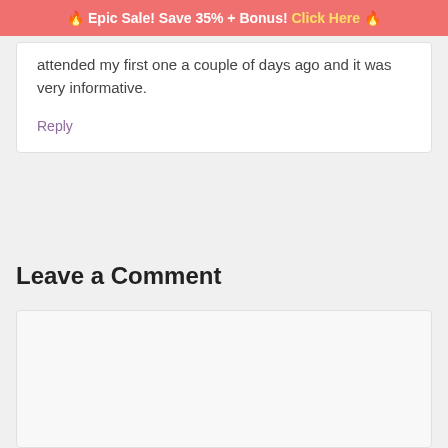🔥 Epic Sale! Save 35% + Bonus! Click Here 🔥
attended my first one a couple of days ago and it was very informative.
Reply
Leave a Comment